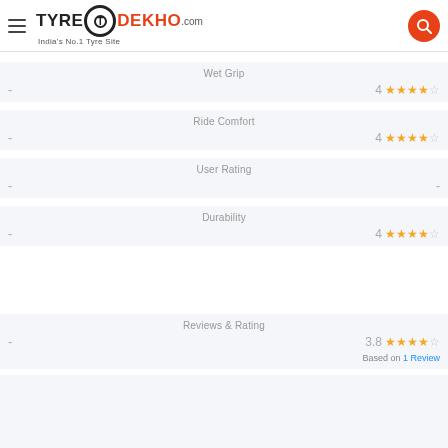TyreDekho.com — India's No.1 Tyre Site
Wet Grip
- | 4 ★★★★☆
Ride Comfort
- | 4 ★★★★☆
User Rating
- | -
Durability
- | 4 ★★★★☆
Reviews & Rating
- | 3.8 ★★★★☆ Based on 1 Review